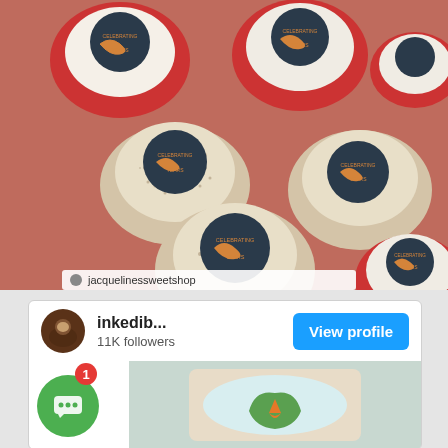[Figure (photo): A top-down photo of decorated cupcakes with dark circular logos reading 'CELEBRATING YEARS' on white frosting. Mix of red velvet and speckled cupcakes. Photo credited to jacquelinessweetshop.]
[Figure (screenshot): A social media profile card showing account 'inkedib...' with 11K followers and a blue 'View profile' button. Below is a partial photo of a decorated sugar cookie showing a green heart/leaf shape on white icing. A green circular chat notification button with a red badge showing '1' is visible in the lower left.]